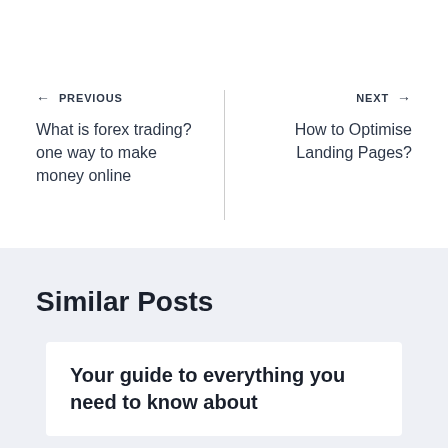← PREVIOUS
What is forex trading? one way to make money online
NEXT →
How to Optimise Landing Pages?
Similar Posts
Your guide to everything you need to know about forex trading